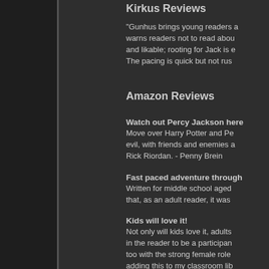Kirkus Reviews
"Gunhus brings young readers a warns readers not to read abou and likable; rooting for Jack is e The pacing is quick but not rus
Amazon Reviews
Watch out Percy Jackson here
Move over Harry Potter and Pe evil, with friends and enemies a Rick Riordan. - Penny Brein
Fast paced adventure through
Written for middle school aged that, as an adult reader, it was
Kids will love it!
Not only will kids love it, adults in the reader to be a participan too with the strong female role adding this to my classroom lib pixiep